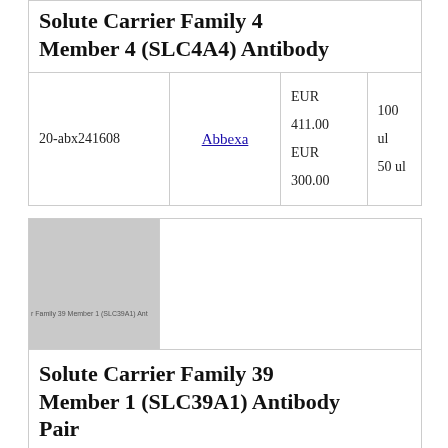Solute Carrier Family 4 Member 4 (SLC4A4) Antibody
| Code | Vendor | Price | Size |
| --- | --- | --- | --- |
| 20-abx241608 | Abbexa | EUR 411.00
EUR 300.00 | 100 ul
50 ul |
[Figure (photo): Product thumbnail image placeholder for Solute Carrier Family 39 Member 1 (SLC39A1) Antibody Pair]
Solute Carrier Family 39 Member 1 (SLC39A1) Antibody Pair